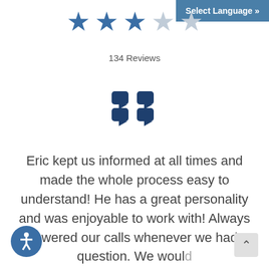[Figure (other): Select Language button in steel blue in top right corner]
[Figure (other): Three filled blue stars and two outline stars representing a 3 out of 5 star rating]
134 Reviews
[Figure (other): Large dark blue quotation mark icon]
Eric kept us informed at all times and made the whole process easy to understand! He has a great personality and was enjoyable to work with! Always answered our calls whenever we had a question. We woul... definitely refer him to anyone...